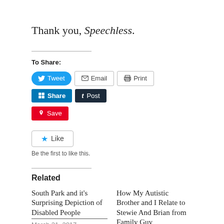Thank you, Speechless.
To Share:
[Figure (infographic): Social sharing buttons: Tweet (blue), Email (outlined), Print (outlined), Share (LinkedIn blue), Post (dark), Save (Pinterest red)]
[Figure (infographic): Like button with star icon and text 'Be the first to like this.']
Related
South Park and it's Surprising Depiction of Disabled People
March 21, 2017
How My Autistic Brother and I Relate to Stewie And Brian from Family Guy
March 31, 2017